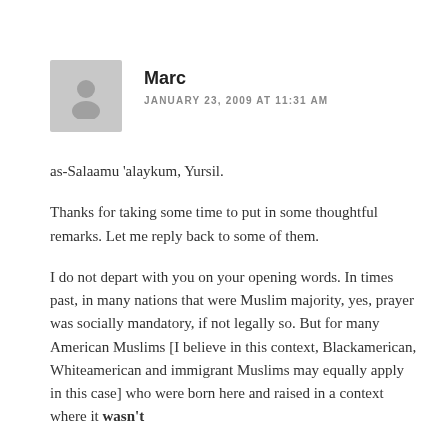[Figure (illustration): Grey avatar placeholder image showing a silhouette of a person]
Marc
JANUARY 23, 2009 AT 11:31 AM
as-Salaamu 'alaykum, Yursil.
Thanks for taking some time to put in some thoughtful remarks. Let me reply back to some of them.
I do not depart with you on your opening words. In times past, in many nations that were Muslim majority, yes, prayer was socially mandatory, if not legally so. But for many American Muslims [I believe in this context, Blackamerican, Whiteamerican and immigrant Muslims may equally apply in this case] who were born here and raised in a context where it wasn't